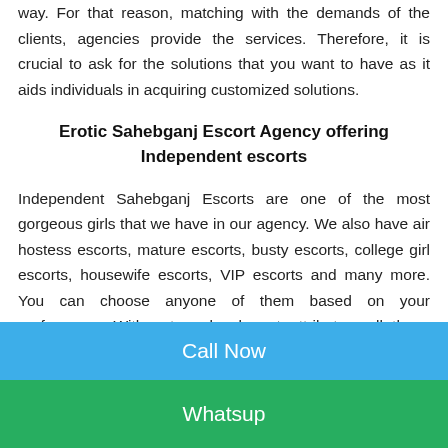way. For that reason, matching with the demands of the clients, agencies provide the services. Therefore, it is crucial to ask for the solutions that you want to have as it aids individuals in acquiring customized solutions.
Erotic Sahebganj Escort Agency offering Independent escorts
Independent Sahebganj Escorts are one of the most gorgeous girls that we have in our agency. We also have air hostess escorts, mature escorts, busty escorts, college girl escorts, housewife escorts, VIP escorts and many more. You can choose anyone of them based on your preferences. With extremely elegant attributes, all these girls are capable to control the heart of every...
Call Now
Whatsup